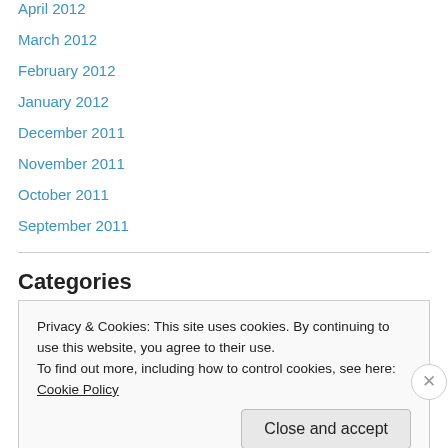April 2012
March 2012
February 2012
January 2012
December 2011
November 2011
October 2011
September 2011
Categories
Amazon Games
Privacy & Cookies: This site uses cookies. By continuing to use this website, you agree to their use.
To find out more, including how to control cookies, see here: Cookie Policy
Close and accept